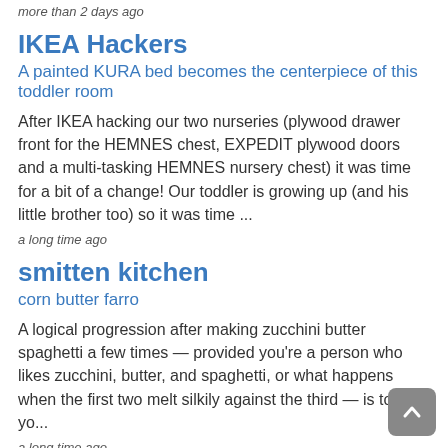more than 2 days ago
IKEA Hackers
A painted KURA bed becomes the centerpiece of this toddler room
After IKEA hacking our two nurseries (plywood drawer front for the HEMNES chest, EXPEDIT plywood doors and a multi-tasking HEMNES nursery chest) it was time for a bit of a change! Our toddler is growing up (and his little brother too) so it was time ...
a long time ago
smitten kitchen
corn butter farro
A logical progression after making zucchini butter spaghetti a few times — provided you're a person who likes zucchini, butter, and spaghetti, or what happens when the first two melt silkily against the third — is to ask yo...
a long time ago
Mary af Rövarhamn
Ombytta roller
Vi har haft ett tufft år. Ludvigs rygg har blivit allt sämre, han har